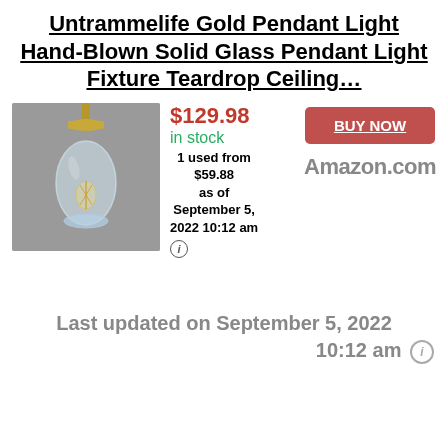Untrammelife Gold Pendant Light Hand-Blown Solid Glass Pendant Light Fixture Teardrop Ceiling…
[Figure (photo): Product photo of a teardrop-shaped clear glass pendant light with gold/brass hardware against a grey background.]
$129.98
in stock
1 used from $59.88 as of September 5, 2022 10:12 am
BUY NOW
Amazon.com
Last updated on September 5, 2022 10:12 am